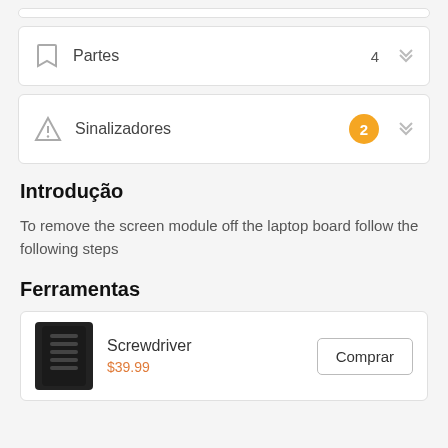Partes 4
Sinalizadores 2
Introdução
To remove the screen module off the laptop board follow the following steps
Ferramentas
Screwdriver $39.99 Comprar